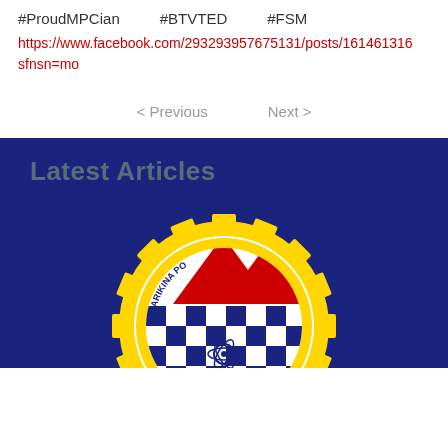#ProudMPCian   #BTVTED   #FSM
https://www.facebook.com/293293957675131/posts/1614613160sfnsn=mo
< Previous   Next >
Latest Articles
[Figure (logo): Marikina Polytechnic College seal/logo with yellow gear border, two red triangles, blue and white checkerboard pattern, and atom symbol in center on dark blue background]